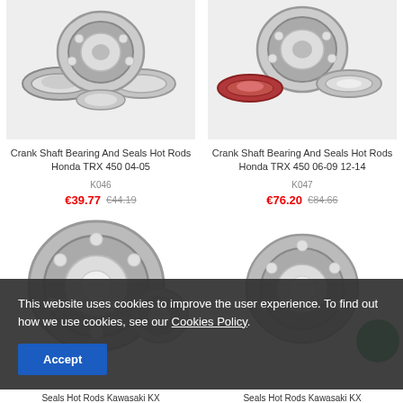[Figure (photo): Crank shaft bearing and seals product photo - Honda TRX 450 04-05]
Crank Shaft Bearing And Seals Hot Rods Honda TRX 450 04-05
K046
€39.77 €44.19
[Figure (photo): Crank shaft bearing and seals product photo - Honda TRX 450 06-09 12-14]
Crank Shaft Bearing And Seals Hot Rods Honda TRX 450 06-09 12-14
K047
€76.20 €84.66
[Figure (photo): Bearing product photo - Kawasaki KX]
[Figure (photo): Bearing product photo - Kawasaki KX]
This website uses cookies to improve the user experience. To find out how we use cookies, see our Cookies Policy.
Accept
Seals Hot Rods Kawasaki KX
Seals Hot Rods Kawasaki KX